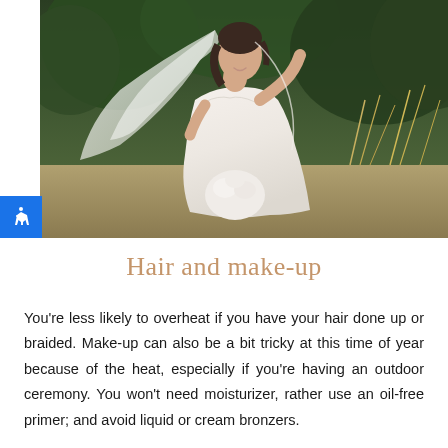[Figure (photo): A bride in a white strapless wedding dress and veil, smiling and holding a white bouquet, standing outdoors with trees and dry grass in the background. Her veil is blowing in the wind.]
Hair and make-up
You're less likely to overheat if you have your hair done up or braided. Make-up can also be a bit tricky at this time of year because of the heat, especially if you're having an outdoor ceremony. You won't need moisturizer, rather use an oil-free primer; and avoid liquid or cream bronzers.